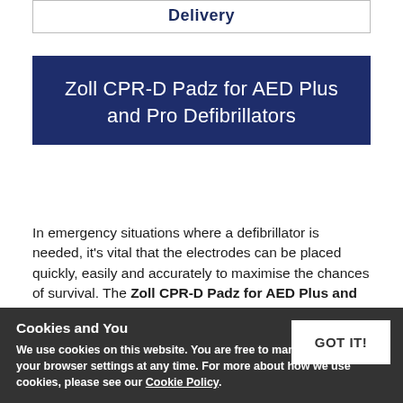Delivery
Zoll CPR-D Padz for AED Plus and Pro Defibrillators
In emergency situations where a defibrillator is needed, it's vital that the electrodes can be placed quickly, easily and accurately to maximise the chances of survival. The Zoll CPR-D Padz for AED Plus and Pro Defibrillators have been developed to ensure that, in an emergency, the electrodes can be placed accurately and quickly. Gel is provided.
Cookies and You
We use cookies on this website. You are free to manage these via your browser settings at any time. For more about how we use cookies, please see our Cookie Policy.
The one-piece design of the CPR-D Padz one…